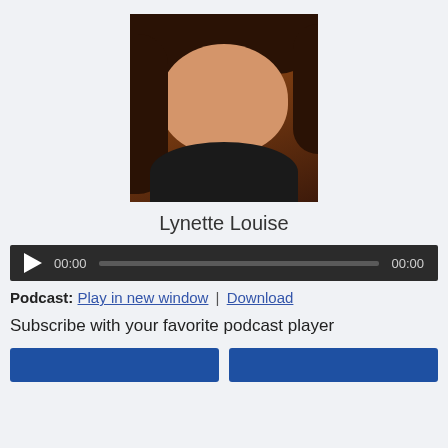[Figure (photo): Portrait photo of Lynette Louise, a woman with dark brown hair, looking at the camera against a warm orange-brown background]
Lynette Louise
[Figure (screenshot): Audio podcast player widget with dark background, play button, progress bar showing 00:00 / 00:00]
Podcast: Play in new window | Download
Subscribe with your favorite podcast player
[Figure (screenshot): Two blue subscription buttons partially visible at bottom of page]